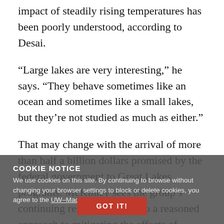impact of steadily rising temperatures has been poorly understood, according to Desai.
“Large lakes are very interesting,” he says. “They behave sometimes like an ocean and sometimes like a small lakes, but they’re not studied as much as either.”
That may change with the arrival of more than half a billion dollars promised by the federal government to Great Lakes programs. McKinley sees the group’s continuing research as vital to a reasoned approach to mitigating the effects of pollution and invasive species.
“We have more to do,” McKinley says, pointing to Austin’s mooring of underwater instruments and the researchers’ continuing assessment of the carbon cycling in and out of Lake Superior as part of a four-year grant funded by the National Science Foundation.
COOKIE NOTICE
We use cookies on this site. By continuing to browse without changing your browser settings to block or delete cookies, you agree to the UW–Madison Privacy Notice.
GOT IT!